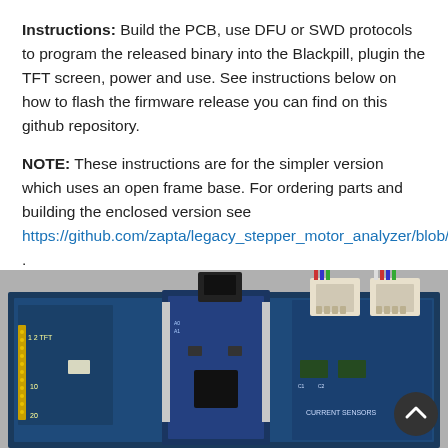Instructions: Build the PCB, use DFU or SWD protocols to program the released binary into the Blackpill, plugin the TFT screen, power and use. See instructions below on how to flash the firmware release you can find on this github repository.
NOTE: These instructions are for the simpler version which uses an open frame base. For ordering parts and building the enclosed version see https://github.com/zapta/legacy_stepper_motor_analyzer/blob/master/case_option.md .
[Figure (photo): Photo of a blue PCB (stepper motor analyzer) with connectors, current sensor headers, and a USB Blackpill microcontroller module plugged in, along with white wire connectors.]